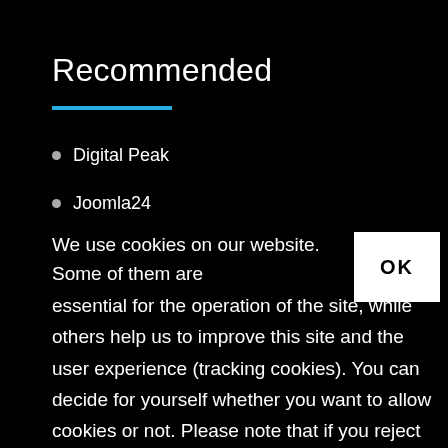Recommended
Digital Peak
Joomla24
We use cookies on our website. Some of them are essential for the operation of the site, while others help us to improve this site and the user experience (tracking cookies). You can decide for yourself whether you want to allow cookies or not. Please note that if you reject them, you may not be able to use all the functionalities of the site.